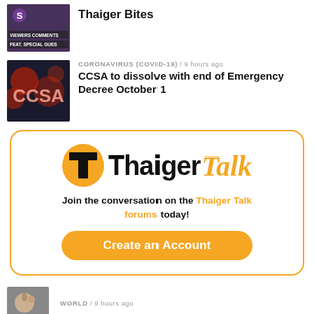[Figure (photo): Thumbnail image with text overlay 'VIEWERS COMMENTS FEAT. SPECIAL GUEST' and Thaiger logo, dark/purple toned]
Thaiger Bites
[Figure (photo): Thumbnail image showing CCSA letters in red on dark background]
CORONAVIRUS (COVID-19) / 9 hours ago
CCSA to dissolve with end of Emergency Decree October 1
[Figure (logo): Thaiger Talk promotional card with logo, tagline and Create an Account button]
Join the conversation on the Thaiger Talk forums today!
Create an Account
[Figure (photo): Small thumbnail image for World news story]
WORLD / 9 hours ago